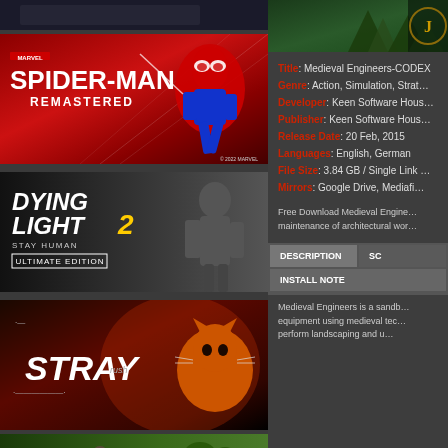[Figure (photo): Partial top banner of a game screenshot]
[Figure (photo): Marvel Spider-Man Remastered game banner with red background and Spider-Man figure, © 2022 MARVEL]
[Figure (photo): Dying Light 2 Stay Human Ultimate Edition game banner with dark grayscale man silhouette]
[Figure (photo): Stray game banner with orange cat and dark red atmospheric background]
[Figure (photo): Partial bottom banner showing tropical/palm tree scene with person silhouette]
[Figure (photo): Top right partial game image showing forest/jungle and golden J emblem]
Title: Medieval Engineers-CODEX
Genre: Action, Simulation, Strat...
Developer: Keen Software Hous...
Publisher: Keen Software Hous...
Release Date: 20 Feb, 2015
Languages: English, German
File Size: 3.84 GB / Single Link ...
Mirrors: Google Drive, Mediafi...
Free Download Medieval Engine... maintenance of architectural wor...
DESCRIPTION | SC | INSTALL NOTE (tab buttons)
Medieval Engineers is a sandb... equipment using medieval tec... perform landscaping and u...